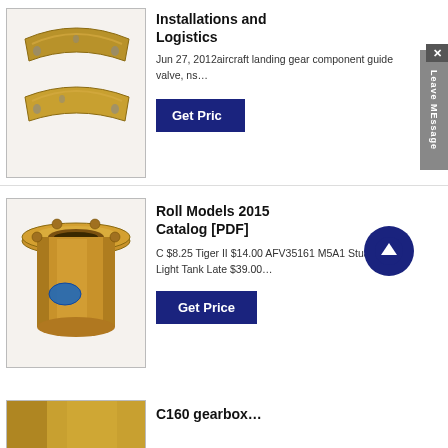[Figure (photo): Two curved bronze/brass aircraft landing gear components on white background]
Installations and Logistics
Jun 27, 2012aircraft landing gear component guide valve, ns…
Get Price
[Figure (photo): Bronze/brass cylindrical bushing or sleeve component on white background with blue label sticker]
Roll Models 2015 Catalog [PDF]
C $8.25 Tiger II $14.00 AFV35161 M5A1 Stuart Light Tank Late $39.00…
Get Price
[Figure (photo): Partial view of another bronze/brass component at bottom of page]
C160 gearbox…